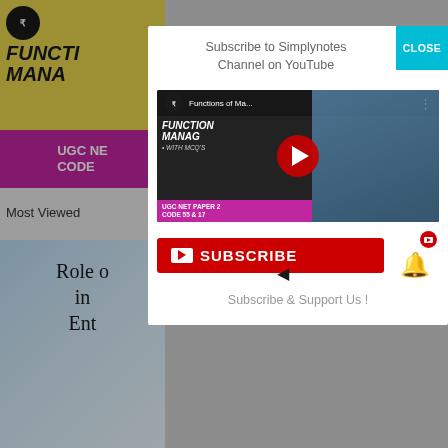[Figure (screenshot): Background website content showing a book thumbnail with 'FUNCTI MANA' text (Functions of Management) and 'UGC NET CODE' purple bar, plus 'Most Viewed' section and book cover showing 'Role of... in Ent...' text]
Subscribe to Simplynotes Channel on YouTube
[Figure (screenshot): YouTube video thumbnail showing Functions of Management video with channel icon, video title 'Functions of Ma...', FUNCTION MANAG text, purple strip 'UGC NET PAPER 2 CODE 55 & 17', red YouTube play button overlay, and presenter woman on right side]
[Figure (screenshot): Red Subscribe button with YouTube icon and SUBSCRIBE text, bell notification icon with YouTube red circle badge, and cursor arrow below subscribe button]
Subscribe & Support Us !
CLOSE